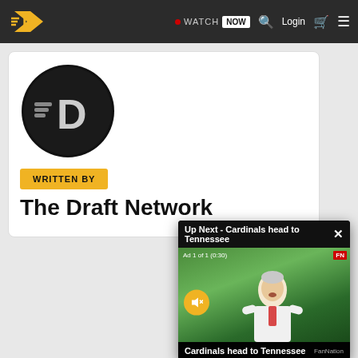The Draft Network — WATCH NOW | Login
[Figure (logo): The Draft Network circular logo on dark background with stylized D and speed lines]
WRITTEN BY
The Draft Network
[Figure (screenshot): Video popup overlay: 'Up Next - Cardinals head to Tennessee', Ad 1 of 1 (0:30), showing a man speaking outdoors with green trees background, mute button, FanNation logo, footer text 'Cardinals head to Tennessee']